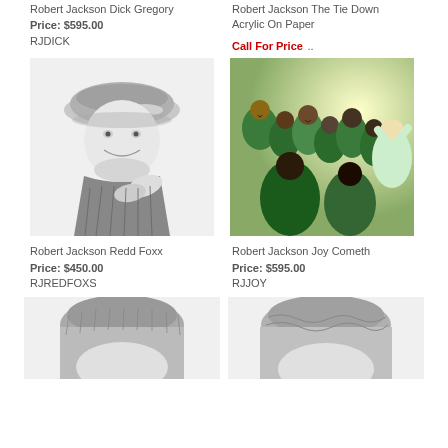Robert Jackson Dick Gregory
Price: $595.00
RJDICK
Robert Jackson The Tie Down
Acrylic On Paper
Call For Price  ..
[Figure (illustration): Black and white pencil sketch portrait of an elderly man wearing a flat cap, smiling and gesturing with his hands - Robert Jackson Redd Foxx]
[Figure (illustration): Colorful acrylic painting of a group of people in green robes appearing to sing or celebrate - Robert Jackson Joy Cometh]
Robert Jackson Redd Foxx
Price: $450.00
RJREDFOXS
Robert Jackson Joy Cometh
Price: $595.00
RJJOY
[Figure (illustration): Partial black and white portrait of a person wearing a hat - bottom of page, left column]
[Figure (illustration): Partial black and white portrait of a person wearing a hat - bottom of page, right column]